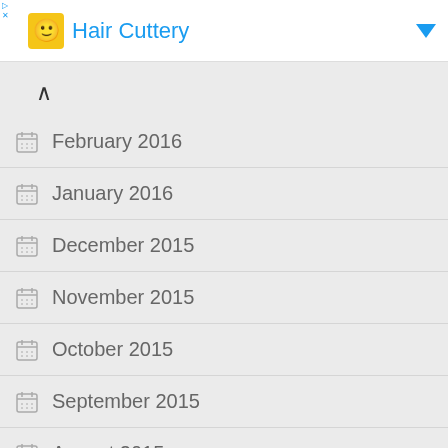Hair Cuttery
February 2016
January 2016
December 2015
November 2015
October 2015
September 2015
August 2015
July 2015
June 2015